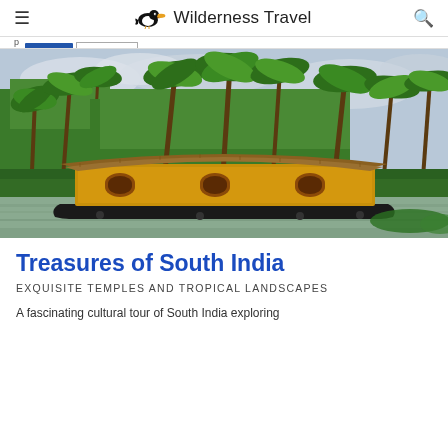≡  Wilderness Travel  🔍
[Figure (photo): A traditional Kerala houseboat (kettuvallam) floating on backwaters, surrounded by tall coconut palm trees and lush tropical greenery under a cloudy sky.]
Treasures of South India
EXQUISITE TEMPLES AND TROPICAL LANDSCAPES
A fascinating cultural tour of South India exploring